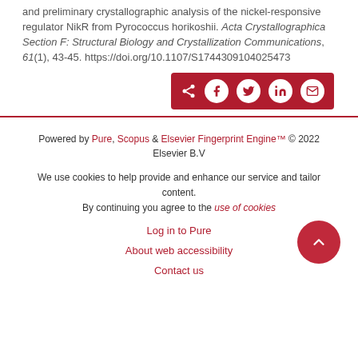and preliminary crystallographic analysis of the nickel-responsive regulator NikR from Pyrococcus horikoshii. Acta Crystallographica Section F: Structural Biology and Crystallization Communications, 61(1), 43-45. https://doi.org/10.1107/S1744309104025473
[Figure (other): Share buttons bar with dark red background containing share icon and social media icons: Facebook, Twitter, LinkedIn, Email]
Powered by Pure, Scopus & Elsevier Fingerprint Engine™ © 2022 Elsevier B.V
We use cookies to help provide and enhance our service and tailor content. By continuing you agree to the use of cookies
Log in to Pure
About web accessibility
Contact us